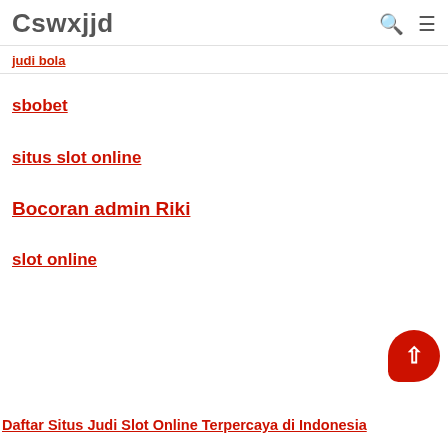Cswxjjd
judi bola
sbobet
situs slot online
Bocoran admin Riki
slot online
Daftar Situs Judi Slot Online Terpercaya di Indonesia